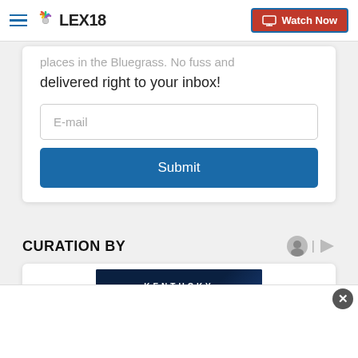LEX18 — Watch Now
places in the Bluegrass. No fuss and delivered right to your inbox!
E-mail
Submit
CURATION BY
[Figure (screenshot): KENTUCKY FLOOD promo image with dark blue background]
[Figure (screenshot): Ad banner with close button (×)]